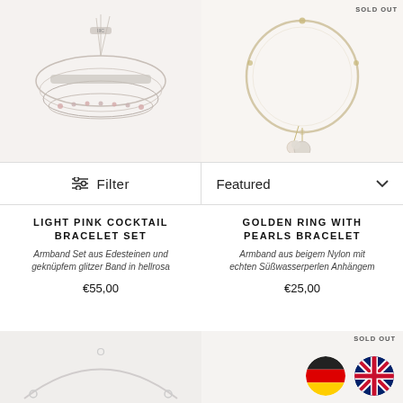[Figure (photo): Light pink cocktail bracelet set product photo on light background]
[Figure (photo): Golden ring with pearls bracelet product photo, with SOLD OUT badge]
Filter
Featured
LIGHT PINK COCKTAIL BRACELET SET
Armband Set aus Edesteinen und geknüpfem glitzer Band in hellrosa
€55,00
GOLDEN RING WITH PEARLS BRACELET
Armband aus beigem Nylon mit echten Süßwasserperlen Anhängem
€25,00
[Figure (photo): White/silver bracelet product photo on grey background]
[Figure (photo): Light background product photo with SOLD OUT badge, German and UK flag icons]